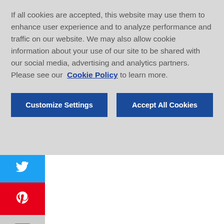If all cookies are accepted, this website may use them to enhance user experience and to analyze performance and traffic on our website. We may also allow cookie information about your use of our site to be shared with our social media, advertising and analytics partners. Please see our Cookie Policy to learn more.
Customize Settings
Accept All Cookies
-0 minutes
mild
ervings
Ingredients
10